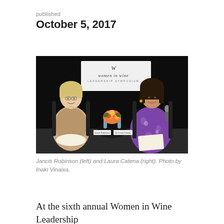published
October 5, 2017
[Figure (photo): Two women seated on chairs on a stage in front of a dark backdrop with a 'Women in Wine Leadership Symposium' sign. On the left is a woman with short blonde hair wearing a beige cardigan and striped dress. On the right is a woman with dark hair wearing a purple floral dress, holding a microphone and papers. Between them is a small round table with flowers and water bottles, and name placards.]
Jancis Robinson (left) and Laura Catena (right). Photo by Inaki Vinaixa.
At the sixth annual Women in Wine Leadership